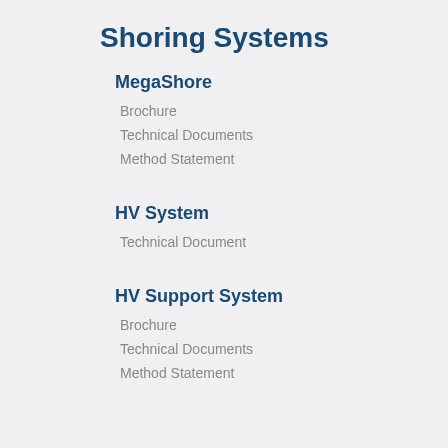Shoring Systems
MegaShore
Brochure
Technical Documents
Method Statement
HV System
Technical Document
HV Support System
Brochure
Technical Documents
Method Statement